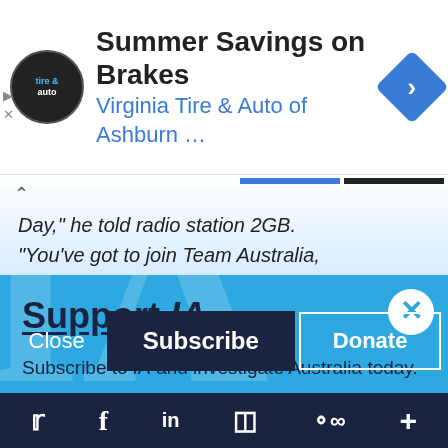[Figure (screenshot): Advertisement banner for Virginia Tire & Auto of Ashburn with logo and arrow icon]
Day," he told radio station 2GB. "You've got to join Team Australia, you've got to accept our core culture,
Support IA
Subscribe to IA and investigate Australia today.
Close  Subscribe  Donate
Twitter  Facebook  LinkedIn  Flipboard  Share  Plus